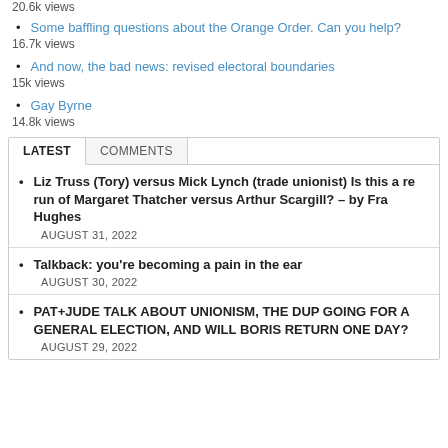20.6k views
Some baffling questions about the Orange Order. Can you help?
16.7k views
And now, the bad news: revised electoral boundaries
15k views
Gay Byrne
14.8k views
LATEST   COMMENTS
Liz Truss (Tory) versus Mick Lynch (trade unionist) Is this a re run of Margaret Thatcher versus Arthur Scargill? – by Fra Hughes
AUGUST 31, 2022
Talkback: you're becoming a pain in the ear
AUGUST 30, 2022
PAT+JUDE TALK ABOUT UNIONISM, THE DUP GOING FOR A GENERAL ELECTION, AND WILL BORIS RETURN ONE DAY?
AUGUST 29, 2022